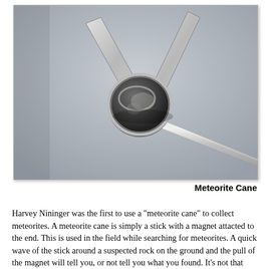[Figure (photo): Close-up photograph of a meteorite cane showing a magnet attached to a metal rod/handle. The magnet (circular, dark with metallic rim) is being held by a fork-shaped metal bracket. The rod extends to the lower right. Gray background.]
Meteorite Cane
Harvey Nininger was the first to use a "meteorite cane" to collect meteorites. A meteorite cane is simply a stick with a magnet attacted to the end. This is used in the field while searching for meteorites. A quick wave of the stick around a suspected rock on the ground and the pull of the magnet will tell you, or not tell you what you found. It's not that uncommon to hear of a small unseen